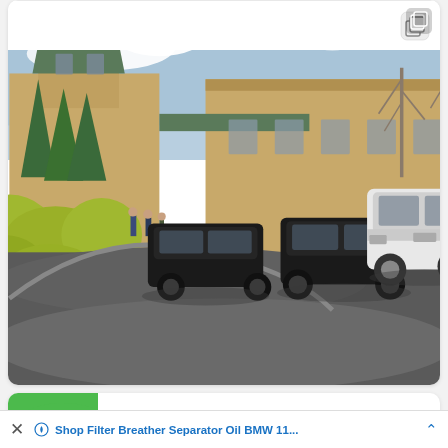[Figure (photo): A parking area in front of a large tan/stone building with a distinctive tower. Several black SUVs and one white SUV are parked in a circular driveway. Bare trees are visible in the background. People are visible on the left side near the building entrance. Yellow-green hedges and conifer trees line the left side.]
[Figure (photo): Partially visible second photo card showing a green object on the left side, cropped at the bottom of the screen.]
Shop Filter Breather Separator Oil BMW 11...